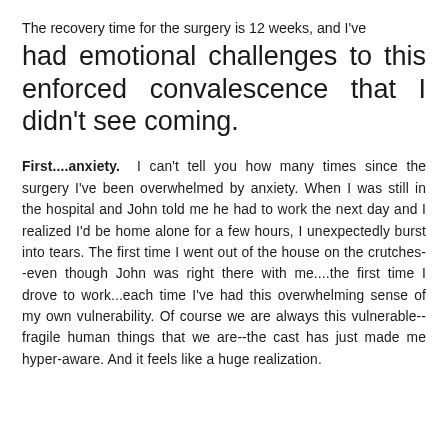The recovery time for the surgery is 12 weeks, and I've had emotional challenges to this enforced convalescence that I didn't see coming.
First....anxiety. I can't tell you how many times since the surgery I've been overwhelmed by anxiety. When I was still in the hospital and John told me he had to work the next day and I realized I'd be home alone for a few hours, I unexpectedly burst into tears. The first time I went out of the house on the crutches--even though John was right there with me....the first time I drove to work...each time I've had this overwhelming sense of my own vulnerability. Of course we are always this vulnerable--fragile human things that we are--the cast has just made me hyper-aware. And it feels like a huge realization.